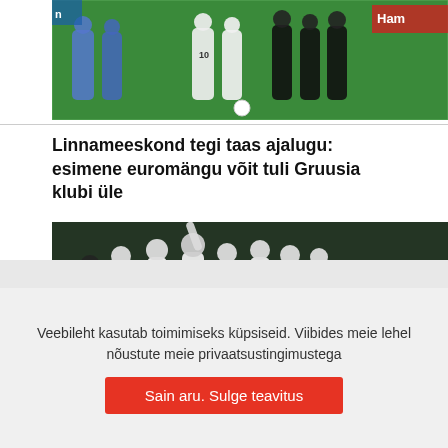[Figure (photo): Football players on a pitch, referees in black, players in white jerseys with number 10 visible, green field background]
Linnameeskond tegi taas ajalugu: esimene euromängu võit tuli Gruusia klubi üle
[Figure (photo): Football players in white jerseys celebrating together on the pitch, blue stadium advertising boards in background]
Veebileht kasutab toimimiseks küpsiseid. Viibides meie lehel nõustute meie privaatsustingimustega
Sain aru. Sulge teavitus